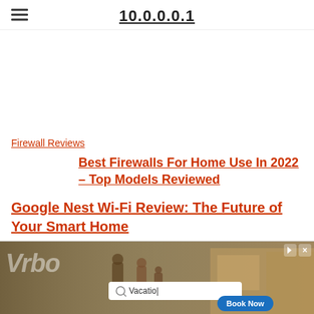10.0.0.0.1
[Advertisement space]
Firewall Reviews
Best Firewalls For Home Use In 2022 – Top Models Reviewed
Google Nest Wi-Fi Review: The Future of Your Smart Home
[Figure (screenshot): Advertisement banner for VRBO vacation rental service showing people loading a car, a search bar with 'Vacation' text, and a 'Book Now' button. Play and close icons in top right.]